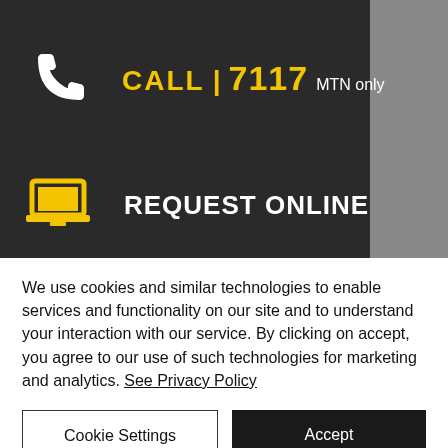[Figure (infographic): Dark banner with phone icon, text CALL | 7117 MTN only, and laptop icon with REQUEST ONLINE text]
2
[Figure (infographic): Downward arrow icon]
[Figure (infographic): Yellow horizontal bar]
We use cookies and similar technologies to enable services and functionality on our site and to understand your interaction with our service. By clicking on accept, you agree to our use of such technologies for marketing and analytics. See Privacy Policy
Cookie Settings
Accept